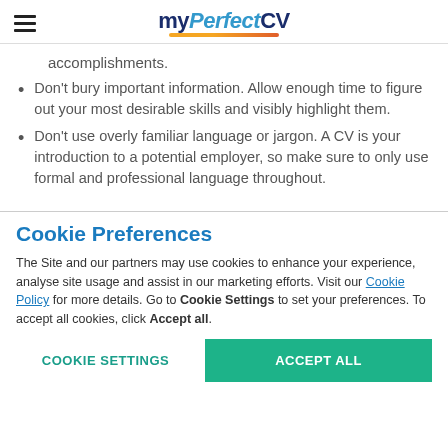myPerfectCV
accomplishments.
Don't bury important information. Allow enough time to figure out your most desirable skills and visibly highlight them.
Don't use overly familiar language or jargon. A CV is your introduction to a potential employer, so make sure to only use formal and professional language throughout.
Cookie Preferences
The Site and our partners may use cookies to enhance your experience, analyse site usage and assist in our marketing efforts. Visit our Cookie Policy for more details. Go to Cookie Settings to set your preferences. To accept all cookies, click Accept all.
COOKIE SETTINGS | ACCEPT ALL